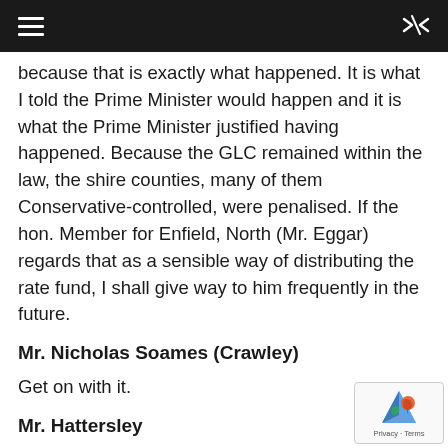☰  ⇌
because that is exactly what happened. It is what I told the Prime Minister would happen and it is what the Prime Minister justified having happened. Because the GLC remained within the law, the shire counties, many of them Conservative-controlled, were penalised. If the hon. Member for Enfield, North (Mr. Eggar) regards that as a sensible way of distributing the rate fund, I shall give way to him frequently in the future.
Mr. Nicholas Soames (Crawley)
Get on with it.
Mr. Hattersley
I long for the hon. Member for Crawley (Mr. Soames) to intervene.